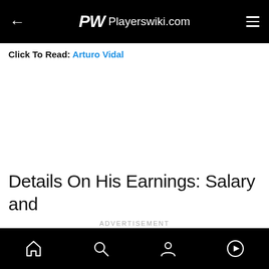PW Playerswiki.com
Click To Read: Arturo Vidal
Details On His Earnings: Salary and
ADVERTISEMENT
Home | Search | Profile | Play